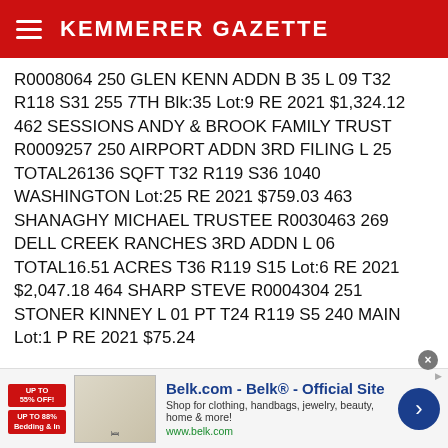KEMMERER GAZETTE
R0008064 250 GLEN KENN ADDN B 35 L 09 T32 R118 S31 255 7TH Blk:35 Lot:9 RE 2021 $1,324.12 462 SESSIONS ANDY & BROOK FAMILY TRUST R0009257 250 AIRPORT ADDN 3RD FILING L 25 TOTAL26136 SQFT T32 R119 S36 1040 WASHINGTON Lot:25 RE 2021 $759.03 463 SHANAGHY MICHAEL TRUSTEE R0030463 269 DELL CREEK RANCHES 3RD ADDN L 06 TOTAL16.51 ACRES T36 R119 S15 Lot:6 RE 2021 $2,047.18 464 SHARP STEVE R0004304 251 STONER KINNEY L 01 PT T24 R119 S5 240 MAIN Lot:1 P RE 2021 $75.24
[Figure (screenshot): Belk.com advertisement banner at the bottom of the page]